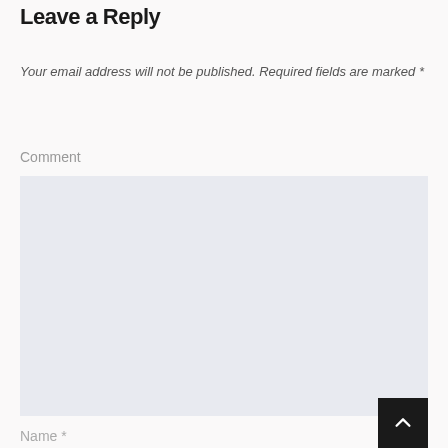Leave a Reply
Your email address will not be published. Required fields are marked *
Comment
[Figure (other): Empty comment textarea input box with light blue-grey background]
Name *